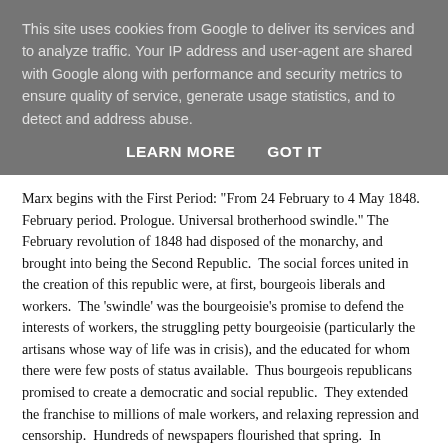This site uses cookies from Google to deliver its services and to analyze traffic. Your IP address and user-agent are shared with Google along with performance and security metrics to ensure quality of service, generate usage statistics, and to detect and address abuse.
LEARN MORE   GOT IT
Marx begins with the First Period: "From 24 February to 4 May 1848. February period. Prologue. Universal brotherhood swindle." The February revolution of 1848 had disposed of the monarchy, and brought into being the Second Republic. The social forces united in the creation of this republic were, at first, bourgeois liberals and workers. The 'swindle' was the bourgeoisie's promise to defend the interests of workers, the struggling petty bourgeoisie (particularly the artisans whose way of life was in crisis), and the educated for whom there were few posts of status available. Thus bourgeois republicans promised to create a democratic and social republic. They extended the franchise to millions of male workers, and relaxing repression and censorship. Hundreds of newspapers flourished that spring. In principle, Marx argues, the democratic republic is an ideal form of class rule for capital - in a phrase, the